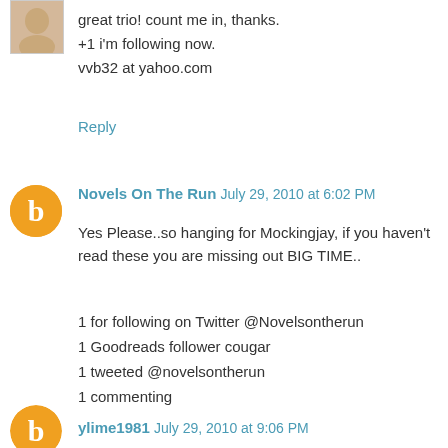[Figure (photo): Small thumbnail avatar image of a person, top-left corner]
great trio! count me in, thanks.
+1 i'm following now.
vvb32 at yahoo.com
Reply
[Figure (logo): Orange circular Blogger icon with white 'b' letter]
Novels On The Run  July 29, 2010 at 6:02 PM
Yes Please..so hanging for Mockingjay, if you haven't read these you are missing out BIG TIME..
1 for following on Twitter @Novelsontherun
1 Goodreads follower cougar
1 tweeted @novelsontherun
1 commenting
novelsontherun@gmail.com
Reply
[Figure (logo): Orange circular Blogger icon with white 'b' letter]
ylime1981  July 29, 2010 at 9:06 PM